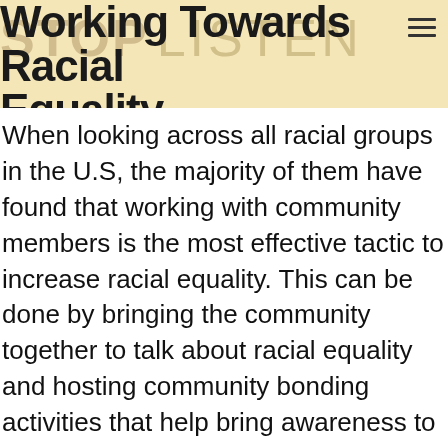Working Towards Racial Equality
When looking across all racial groups in the U.S, the majority of them have found that working with community members is the most effective tactic to increase racial equality. This can be done by bringing the community together to talk about racial equality and hosting community bonding activities that help bring awareness to racial inequality. Either way, through community involvement people will start to understand the challenges minorities in the U.S face on a daily basis.